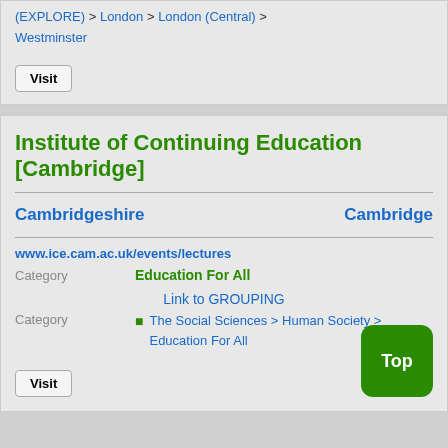(EXPLORE) > London > London (Central) > Westminster
Visit
Institute of Continuing Education [Cambridge]
Cambridgeshire   Cambridge
www.ice.cam.ac.uk/events/lectures
Category
Education For All
Link to GROUPING
Category
The Social Sciences > Human Society > Education For All
Visit
Top